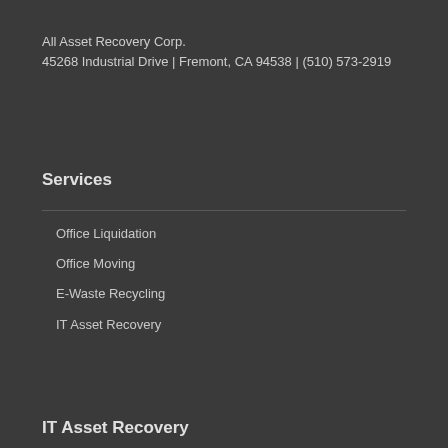All Asset Recovery Corp.
45268 Industrial Drive | Fremont, CA 94538 | (510) 573-2919
Services
Office Liquidation
Office Moving
E-Waste Recycling
IT Asset Recovery
IT Asset Recovery